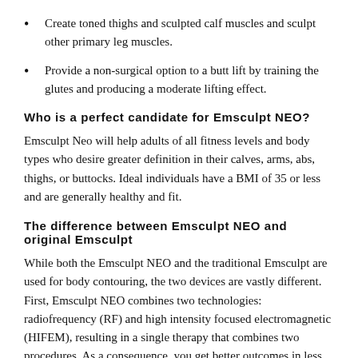Create toned thighs and sculpted calf muscles and sculpt other primary leg muscles.
Provide a non-surgical option to a butt lift by training the glutes and producing a moderate lifting effect.
Who is a perfect candidate for Emsculpt NEO?
Emsculpt Neo will help adults of all fitness levels and body types who desire greater definition in their calves, arms, abs, thighs, or buttocks. Ideal individuals have a BMI of 35 or less and are generally healthy and fit.
The difference between Emsculpt NEO and original Emsculpt
While both the Emsculpt NEO and the traditional Emsculpt are used for body contouring, the two devices are vastly different. First, Emsculpt NEO combines two technologies: radiofrequency (RF) and high intensity focused electromagnetic (HIFEM), resulting in a single therapy that combines two procedures. As a consequence, you get better outcomes in less time. Conversely, traditional Emsculpt